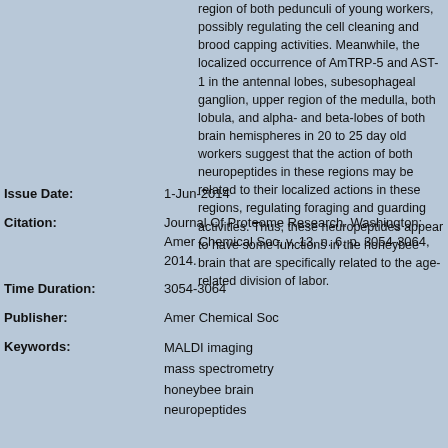region of both pedunculi of young workers, possibly regulating the cell cleaning and brood capping activities. Meanwhile, the localized occurrence of AmTRP-5 and AST-1 in the antennal lobes, subesophageal ganglion, upper region of the medulla, both lobula, and alpha- and beta-lobes of both brain hemispheres in 20 to 25 day old workers suggest that the action of both neuropeptides in these regions may be related to their localized actions in these regions, regulating foraging and guarding activities. Thus, these neuropeptides appear to have some functions in the honeybee brain that are specifically related to the age-related division of labor.
Issue Date: 1-Jun-2014
Citation: Journal Of Proteome Research. Washington: Amer Chemical Soc, v. 13, n. 6, p. 3054-3064, 2014.
Time Duration: 3054-3064
Publisher: Amer Chemical Soc
Keywords: MALDI imaging; mass spectrometry; honeybee brain; neuropeptides